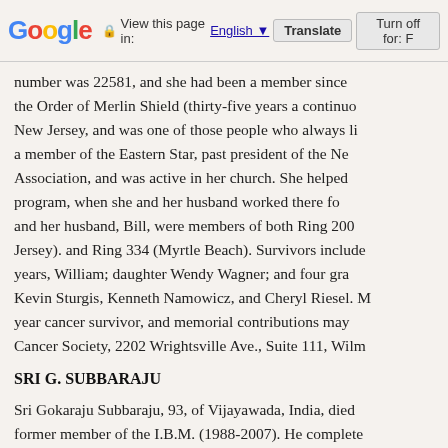Google — View this page in: English [▼] Translate | Turn off for: F
number was 22581, and she had been a member since the Order of Merlin Shield (thirty-five years a continuo New Jersey, and was one of those people who always li a member of the Eastern Star, past president of the Ne Association, and was active in her church. She helped program, when she and her husband worked there fo and her husband, Bill, were members of both Ring 200 Jersey). and Ring 334 (Myrtle Beach). Survivors include years, William; daughter Wendy Wagner; and four gra Kevin Sturgis, Kenneth Namowicz, and Cheryl Riesel. M year cancer survivor, and memorial contributions may Cancer Society, 2202 Wrightsville Ave., Suite 111, Wilm
SRI G. SUBBARAJU
Sri Gokaraju Subbaraju, 93, of Vijayawada, India, died former member of the I.B.M. (1988-2007). He complete United States. He started pharmaceutical companies in businessman. He also entered politics, becoming friend presidents of India. At the age of sixty-five, he saw the became intrigued. He approached Dr. Bose and starte grew in magic, giving his own shows using the name "